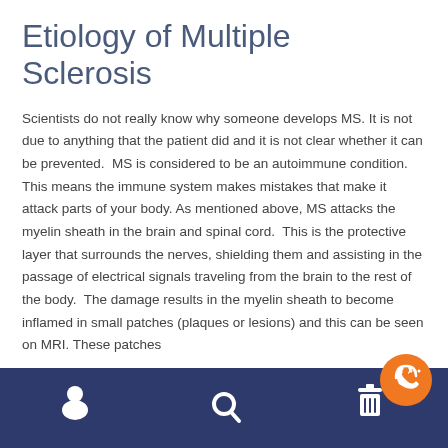Etiology of Multiple Sclerosis
Scientists do not really know why someone develops MS. It is not due to anything that the patient did and it is not clear whether it can be prevented.  MS is considered to be an autoimmune condition. This means the immune system makes mistakes that make it attack parts of your body. As mentioned above, MS attacks the myelin sheath in the brain and spinal cord.  This is the protective layer that surrounds the nerves, shielding them and assisting in the passage of electrical signals traveling from the brain to the rest of the body.  The damage results in the myelin sheath to become inflamed in small patches (plaques or lesions) and this can be seen on MRI. These patches...
[Figure (screenshot): Mobile app navigation bar with dark blue background containing person icon, search icon, and trash/delete icon. An orange circular FAB button with phone/chat icon overlays the bottom right.]